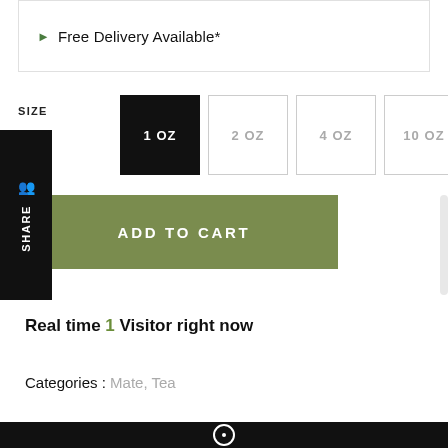Free Delivery Available*
SIZE
1 OZ (selected)
2 OZ
4 OZ
10 OZ
SHARE
ADD TO CART
Real time 1 Visitor right now
Categories : Mate, Tea